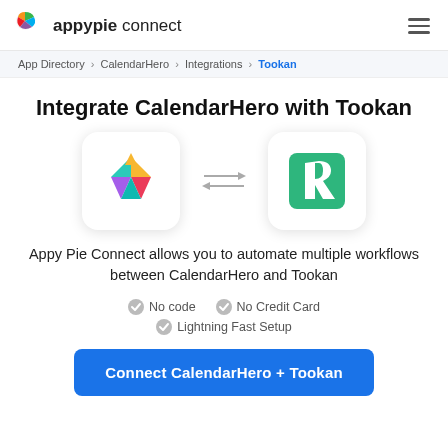appypie connect
App Directory > CalendarHero > Integrations > Tookan
Integrate CalendarHero with Tookan
[Figure (illustration): CalendarHero logo (colorful geometric bird/arrow shape) and Tookan logo (white letter on green square), connected by bidirectional arrows]
Appy Pie Connect allows you to automate multiple workflows between CalendarHero and Tookan
No code
No Credit Card
Lightning Fast Setup
Connect CalendarHero + Tookan